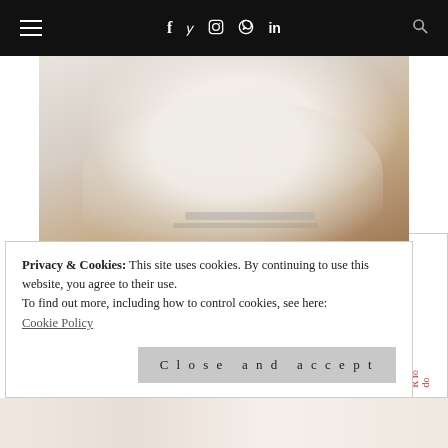≡  f  𝕥  ⊙  ⊕  in  🔍
[Figure (photo): Person in white turtleneck sweater using a laptop, seated, cropped from waist up]
10 Ways To Boost Your Resume During COVID.
September 7, 2020
Privacy & Cookies: This site uses cookies. By continuing to use this website, you agree to their use.
To find out more, including how to control cookies, see here:
Cookie Policy
Close and accept